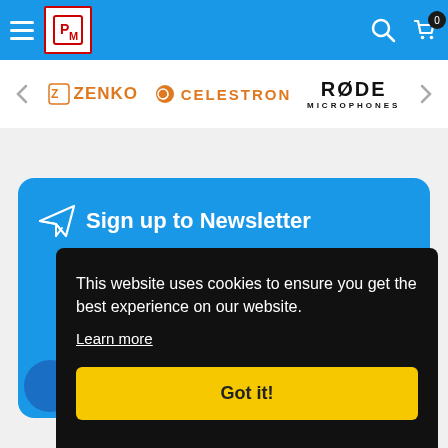Navigation bar with hamburger menu, logo, search icon, cart icon with badge 0
[Figure (logo): Brand logos bar: ZENKO, CELESTRON, RØDE MICROPHONES]
Sign up to Newsletter
This website uses cookies to ensure you get the best experience on our website.
Learn more
Got it!